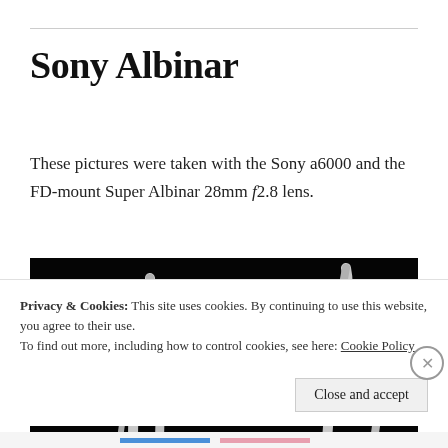Sony Albinar
These pictures were taken with the Sony a6000 and the FD-mount Super Albinar 28mm f2.8 lens.
[Figure (photo): Black and white photograph showing antler-like shapes against a dark background]
Privacy & Cookies: This site uses cookies. By continuing to use this website, you agree to their use. To find out more, including how to control cookies, see here: Cookie Policy
Close and accept